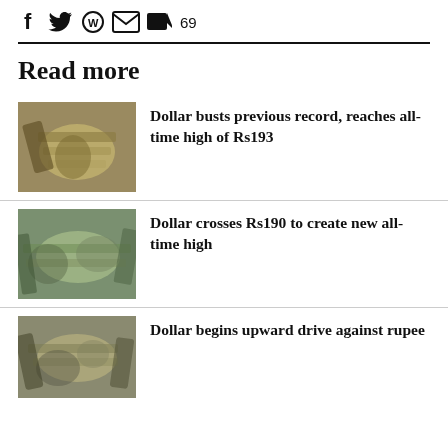[Figure (infographic): Social sharing icons: Facebook, Twitter, WhatsApp, Email, Comments (69)]
Read more
[Figure (photo): Hands holding a fanned-out bundle of US dollar bills]
Dollar busts previous record, reaches all-time high of Rs193
[Figure (photo): Hands with spread US dollar bills on a surface]
Dollar crosses Rs190 to create new all-time high
[Figure (photo): Hands spreading fan of US dollar bills]
Dollar begins upward drive against rupee